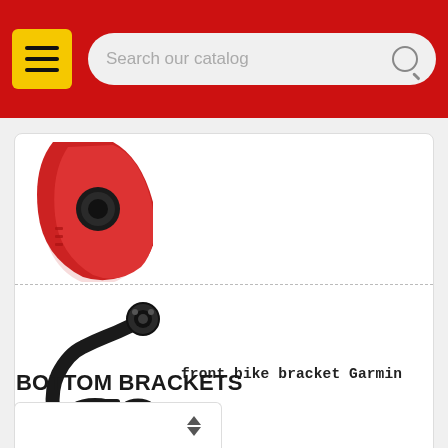[Figure (screenshot): Red navigation header bar with yellow menu button (hamburger icon) on the left and a search bar labeled 'Search our catalog' on the right]
[Figure (photo): Partial view of a red product item (top portion cut off) at the top of a white product card, separated by a dashed line]
front bike bracket Garmin
[Figure (photo): Black front bike bracket Garmin product image showing mounting hardware components]
BOTTOM BRACKETS
[Figure (screenshot): Partial bottom white card with sort/filter arrows icon]